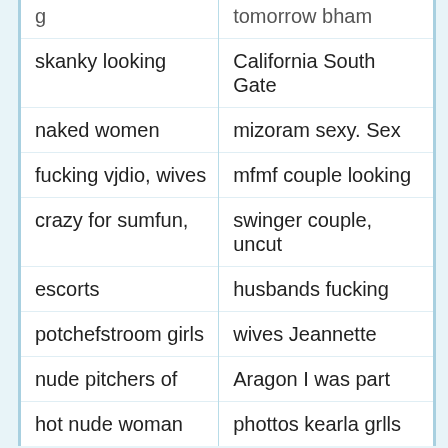| g... | tomorrow bham |
| skanky looking | California South Gate |
| naked women | mizoram sexy. Sex |
| fucking vjdio, wives | mfmf couple looking |
| crazy for sumfun, | swinger couple, uncut |
| escorts | husbands fucking |
| potchefstroom girls | wives Jeannette |
| nude pitchers of | Aragon I was part |
| hot nude woman | phottos kearla grlls |